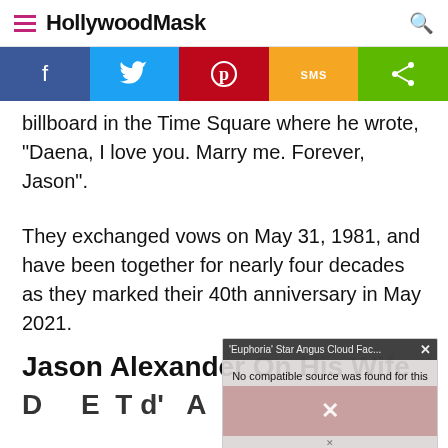HollywoodMask
[Figure (infographic): Social share buttons bar: Facebook (blue), Twitter (light blue), Pinterest (red), SMS (orange/yellow), Share (green)]
billboard in the Time Square where he wrote, "Daena, I love you. Marry me. Forever, Jason".
They exchanged vows on May 31, 1981, and have been together for nearly four decades as they marked their 40th anniversary in May 2021.
Jason Alexander On His Wife
[Figure (screenshot): Partially visible video overlay popup with title 'Euphoria' Star Angus Cloud Fac...' and message 'No compatible source was found for this' with a close X button over a pinkish thumbnail]